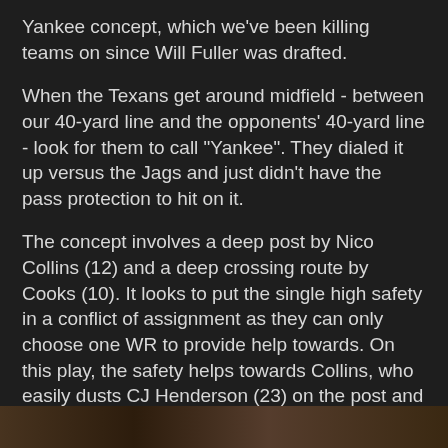Yankee concept, which we've been killing teams on since Will Fuller was drafted.
When the Texans get around midfield - between our 40-yard line and the opponents' 40-yard line - look for them to call "Yankee". They dialed it up versus the Jags and just didn't have the pass protection to hit on it.
The concept involves a deep post by Nico Collins (12) and a deep crossing route by Cooks (10). It looks to put the single high safety in a conflict of assignment as they can only choose one WR to provide help towards. On this play, the safety helps towards Collins, who easily dusts CJ Henderson (23) on the post and this leaves Cooks wide open over the middle of the field for a potentially huge gain.
[Figure (photo): Partial image strip at the bottom of the page showing a football game scene]